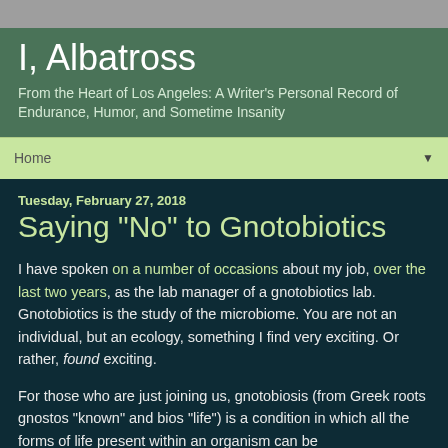I, Albatross
From the Heart of Los Angeles: A Writer's Personal Record of Endurance, Humor, and Sometime Insanity
Home
Tuesday, February 27, 2018
Saying "No" to Gnotobiotics
I have spoken on a number of occasions about my job, over the last two years, as the lab manager of a gnotobiotics lab. Gnotobiotics is the study of the microbiome. You are not an individual, but an ecology, something I find very exciting. Or rather, found exciting.
For those who are just joining us, gnotobiosis (from Greek roots gnostos "known" and bios "life") is a condition in which all the forms of life present within an organism can be